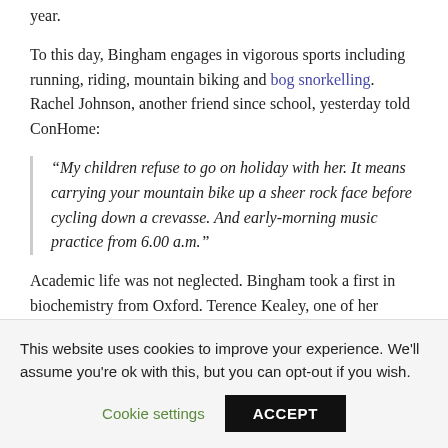year.
To this day, Bingham engages in vigorous sports including running, riding, mountain biking and bog snorkelling. Rachel Johnson, another friend since school, yesterday told ConHome:
“My children refuse to go on holiday with her. It means carrying your mountain bike up a sheer rock face before cycling down a crevasse. And early-morning music practice from 6.00 a.m.”
Academic life was not neglected. Bingham took a first in biochemistry from Oxford. Terence Kealey, one of her tutors, described her as “startlingly intelligent”,
This website uses cookies to improve your experience. We’ll assume you’re ok with this, but you can opt-out if you wish.
Cookie settings  ACCEPT